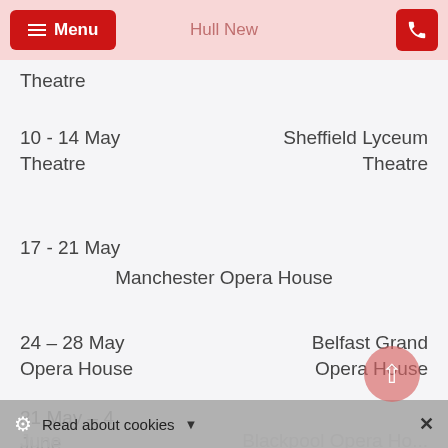Menu | Hull New
Theatre
10 - 14 May Theatre
Sheffield Lyceum Theatre
17 - 21 May
Manchester Opera House
24 – 28 May Opera House
Belfast Grand Opera House
31 May – 4 June
Blackpool Opera House